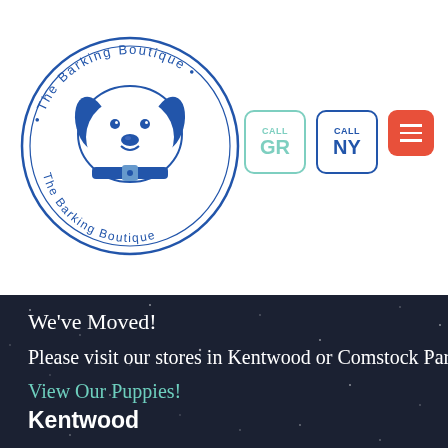[Figure (logo): The Barking Boutique circular logo with a dog illustration in blue, with text around the circle border]
[Figure (other): CALL GR button with teal/green border]
[Figure (other): CALL NY button with blue border]
[Figure (other): Orange hamburger menu button]
We've Moved!
Please visit our stores in Kentwood or Comstock Park 🙂
View Our Puppies!
Kentwood
4547 28th St SE
Grand Rapids, MI 49512
(616) 446-6766
Mon-Sat: 10:30AM – 8PM
Sun: 10:30AM – 6PM
View Our Puppies!
[Figure (other): Orange Translate Site » button]